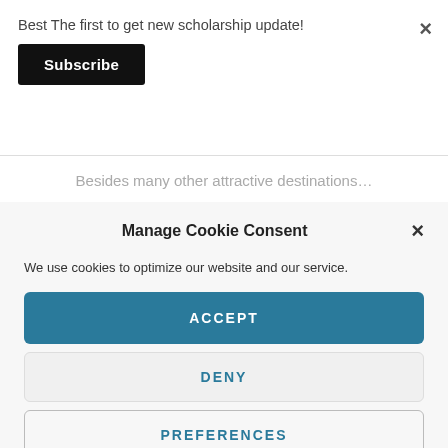Best The first to get new scholarship update!
Subscribe
Besides many other attractive destinations…
Manage Cookie Consent
We use cookies to optimize our website and our service.
ACCEPT
DENY
PREFERENCES
Privacy Policy